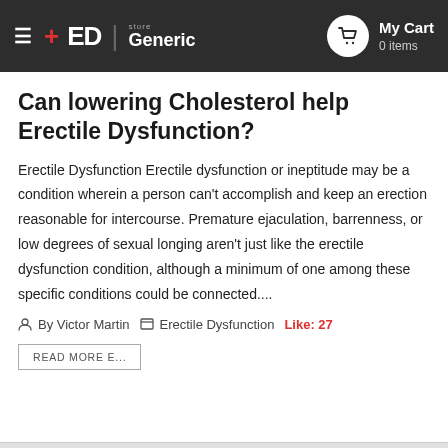+ED Generic Store | My Cart 0 items
Can lowering Cholesterol help Erectile Dysfunction?
Erectile Dysfunction Erectile dysfunction or ineptitude may be a condition wherein a person can't accomplish and keep an erection reasonable for intercourse. Premature ejaculation, barrenness, or low degrees of sexual longing aren't just like the erectile dysfunction condition, although a minimum of one among these specific conditions could be connected....
By Victor Martin   Erectile Dysfunction   Like: 27
READ MORE E...